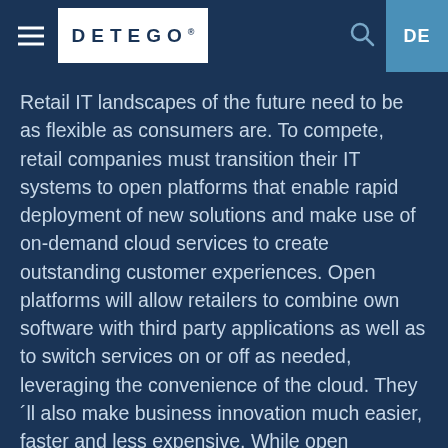[Figure (logo): Detego logo in white box with hamburger menu on left, search icon and DE language selector on right in blue header bar]
Retail IT landscapes of the future need to be as flexible as consumers are. To compete, retail companies must transition their IT systems to open platforms that enable rapid deployment of new solutions and make use of on-demand cloud services to create outstanding customer experiences. Open platforms will allow retailers to combine own software with third party applications as well as to switch services on or off as needed, leveraging the convenience of the cloud. They´ll also make business innovation much easier, faster and less expensive. While open platforms still have room to grow before being the standard in retail IT landscapes, the increasing demand for greater flexibility will drive the industry to embrace "openness" as a way to meet the needs of customers in the future.